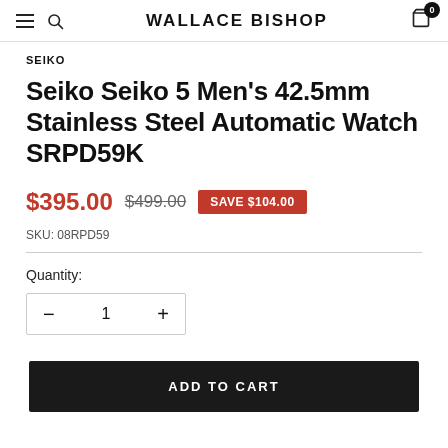WALLACE BISHOP
SEIKO
Seiko Seiko 5 Men's 42.5mm Stainless Steel Automatic Watch SRPD59K
$395.00  $499.00  SAVE $104.00
SKU: 08RPD59
Quantity:
− 1 +
ADD TO CART